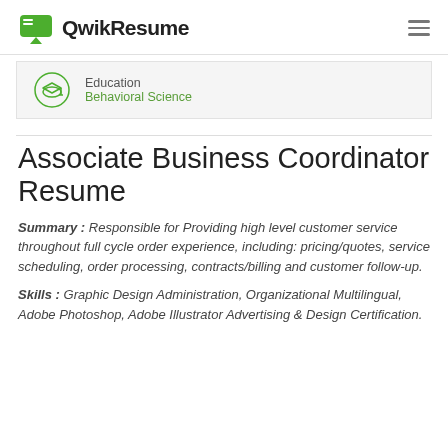QwikResume
Education
Behavioral Science
Associate Business Coordinator Resume
Summary : Responsible for Providing high level customer service throughout full cycle order experience, including: pricing/quotes, service scheduling, order processing, contracts/billing and customer follow-up.
Skills : Graphic Design Administration, Organizational Multilingual, Adobe Photoshop, Adobe Illustrator Advertising & Design Certification.